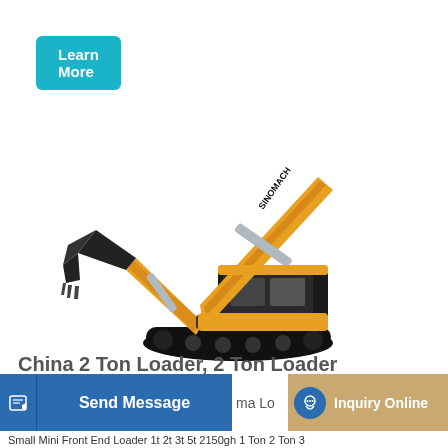[Figure (illustration): Learn More button — teal/cyan rounded rectangle button with white bold text 'Learn More']
[Figure (photo): Yellow and black SINOMACH branded large excavator/crawler excavator on white background, extended boom arm with bucket]
China 2 Ton Loader, 2 Ton Loader Manufacturers, Suppliers
[Figure (other): Bottom navigation bar with: blue 'Send Message' button with edit icon, partial text 'ma Lo', teal/gold 'Inquiry Online' button with headset icon]
Small Mini Front End Loader 1t 2t 3t 5t 2150gh 1 Ton 2 Ton 3